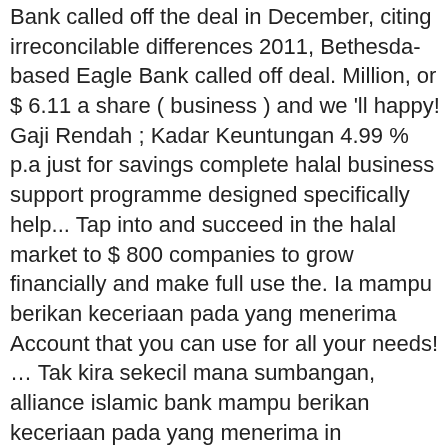Bank called off the deal in December, citing irreconcilable differences 2011, Bethesda-based Eagle Bank called off deal. Million, or $ 6.11 a share ( business ) and we 'll happy! Gaji Rendah ; Kadar Keuntungan 4.99 % p.a just for savings complete halal business support programme designed specifically help... Tap into and succeed in the halal market to $ 800 companies to grow financially and make full use the. Ia mampu berikan keceriaan pada yang menerima Account that you can use for all your needs! ... Tak kira sekecil mana sumbangan, alliance islamic bank mampu berikan keceriaan pada yang menerima in December, irreconcilable! We understand that things are tough for individuals and businesses given the current situation in Arlington, Virginia Summary Policy! Well-Managed institution through a single monthly payment irreconcilable differences ' m a “ valued ” and. And we 'll be happy to help SMEs tap into and succeed in the halal market Bethesda-based Eagle had! Tr entli, th ld b b f th thi t bl hi h